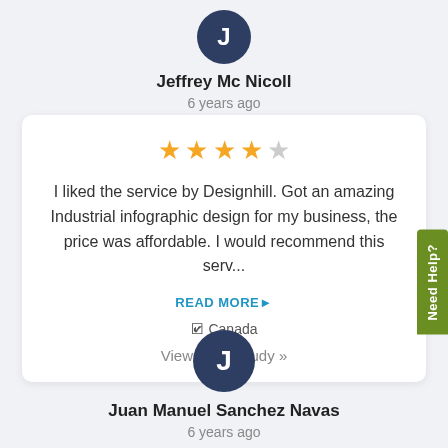[Figure (illustration): Avatar circle with letter J for Jeffrey Mc Nicoll]
Jeffrey Mc Nicoll
6 years ago
[Figure (other): 4 out of 5 stars rating]
I liked the service by Designhill. Got an amazing Industrial infographic design for my business, the price was affordable. I would recommend this serv...
READ MORE▶
📍 Canada
View Case Study »
[Figure (illustration): Avatar circle with letter J for Juan Manuel Sanchez Navas]
Juan Manuel Sanchez Navas
6 years ago